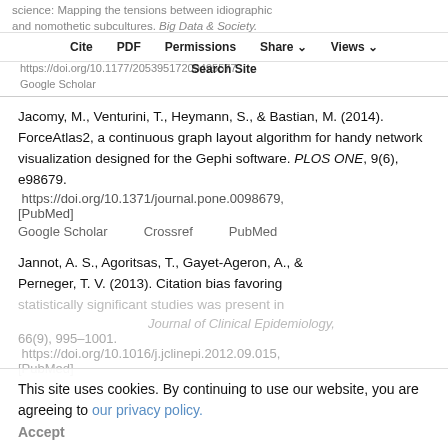science: Mapping the tensions between idiographic and nomothetic subcultures. Big Data & Society. https://doi.org/10.1177/20539517209495577
Cite | PDF | Permissions | Share | Views
Search Site
Google Scholar
Jacomy, M., Venturini, T., Heymann, S., & Bastian, M. (2014). ForceAtlas2, a continuous graph layout algorithm for handy network visualization designed for the Gephi software. PLOS ONE, 9(6), e98679. https://doi.org/10.1371/journal.pone.0098679, [PubMed]
Google Scholar   Crossref   PubMed
Jannot, A. S., Agoritsas, T., Gayet-Ageron, A., & Perneger, T. V. (2013). Citation bias favoring statistically significant studies was present in...
This site uses cookies. By continuing to use our website, you are agreeing to our privacy policy.
Accept